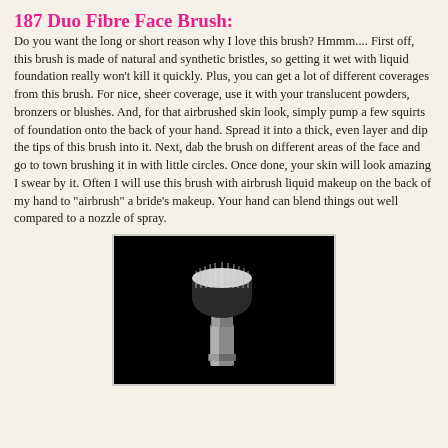187 Duo Fibre Face Brush:
Do you want the long or short reason why I love this brush? Hmmm.... First off, this brush is made of natural and synthetic bristles, so getting it wet with liquid foundation really won't kill it quickly. Plus, you can get a lot of different coverages from this brush. For nice, sheer coverage, use it with your translucent powders, bronzers or blushes. And, for that airbrushed skin look, simply pump a few squirts of foundation onto the back of your hand. Spread it into a thick, even layer and dip the tips of this brush into it. Next, dab the brush on different areas of the face and go to town brushing it in with little circles. Once done, your skin will look amazing I swear by it. Often I will use this brush with airbrush liquid makeup on the back of my hand to "airbrush" a bride's makeup. Your hand can blend things out well compared to a nozzle of spray.
[Figure (photo): A makeup brush (187 Duo Fibre Face Brush) photographed against a black background, showing dense bristles at the top with white tips and dark body, and a silver metallic handle.]